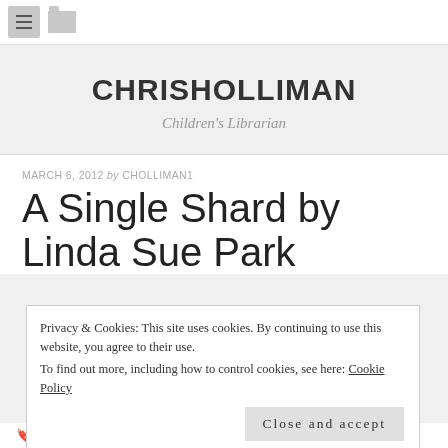CHRISHOLLIMAN — Children's Librarian
MARCH 6, 2012 by CHOLLIMAN1
A Single Shard by Linda Sue Park
Privacy & Cookies: This site uses cookies. By continuing to use this website, you agree to their use. To find out more, including how to control cookies, see here: Cookie Policy
HISTORICAL FICTION, JUVENILE FICTION, KOREA, LINDA